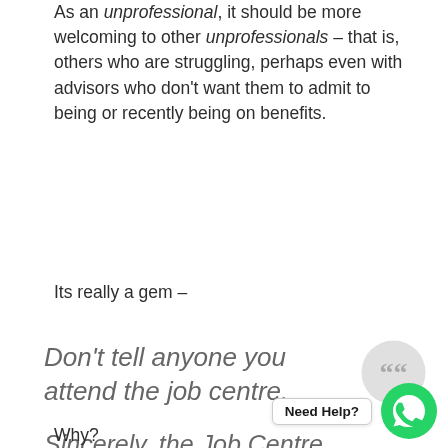As an unprofessional, it should be more welcoming to other unprofessionals – that is, others who are struggling, perhaps even with advisors who don't want them to admit to being or recently being on benefits.
Its really a gem –
Don't tell anyone you attend the job centre.
Sincerely, the Job Centre
Why?
[Figure (illustration): WhatsApp-style chat button with 'Need Help?' label and green WhatsApp logo icon]
[Figure (illustration): Grey circle with large quotation marks icon (66 mark)]